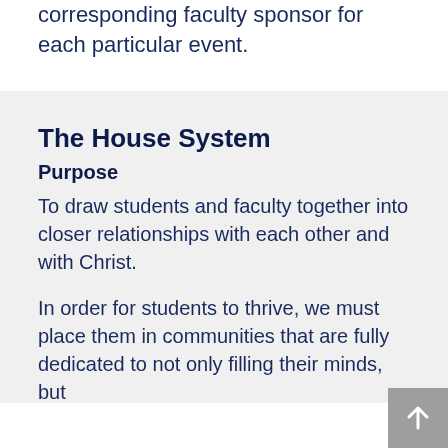corresponding faculty sponsor for each particular event.
The House System
Purpose
To draw students and faculty together into closer relationships with each other and with Christ.
In order for students to thrive, we must place them in communities that are fully dedicated to not only filling their minds, but